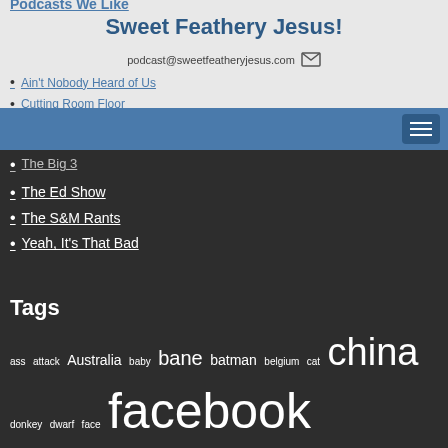Podcasts We Like
Sweet Feathery Jesus!
podcast@sweetfeatheryjesus.com
Ain't Nobody Heard of Us
Cutting Room Floor
I Am Idiot
Jay V Mail
Succotash – The Comedy Podcast Podcast
The Big 3
The Ed Show
The S&M Rants
Yeah, It's That Bad
Tags
ass attack Australia baby bane batman belgium cat china donkey dwarf face facebook feathery florida football frank guns hiccup hitler hulk idiot idiots idiots of facebook jesus marvel midget monkey movie movies news north korea penis Podcast poop sex SFJ soccer star wars stefano swampy sweet sweetfeatheryjiesus taken the ed